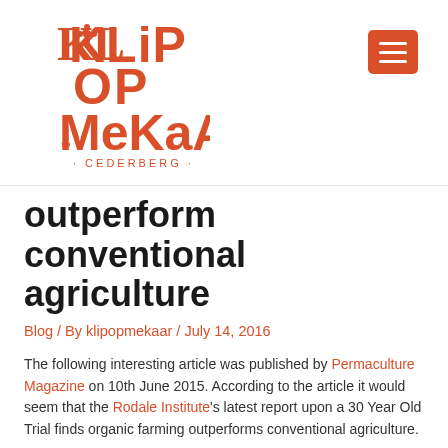[Figure (logo): Klip Op Mekaar Cederberg logo in orange/red decorative font]
outperform conventional agriculture
Blog / By klipopmekaar / July 14, 2016
The following interesting article was published by Permaculture Magazine on 10th June 2015. According to the article it would seem that the Rodale Institute's latest report upon a 30 Year Old Trial finds organic farming outperforms conventional agriculture.
US's longest comparison of organic &